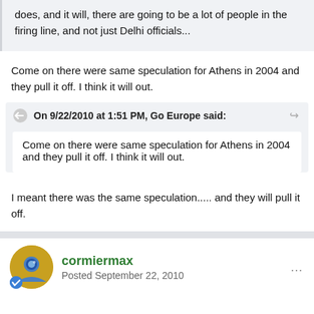does, and it will, there are going to be a lot of people in the firing line, and not just Delhi officials...
Come on there were same speculation for Athens in 2004 and they pull it off. I think it will out.
On 9/22/2010 at 1:51 PM, Go Europe said:
Come on there were same speculation for Athens in 2004 and they pull it off. I think it will out.
I meant there was the same speculation..... and they will pull it off.
cormiermax
Posted September 22, 2010